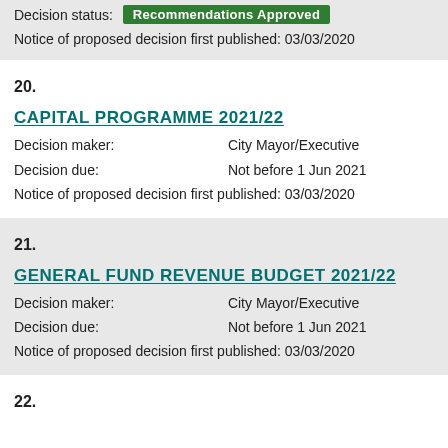Decision status: Recommendations Approved
Notice of proposed decision first published: 03/03/2020
20.
CAPITAL PROGRAMME 2021/22
Decision maker: City Mayor/Executive
Decision due: Not before 1 Jun 2021
Notice of proposed decision first published: 03/03/2020
21.
GENERAL FUND REVENUE BUDGET 2021/22
Decision maker: City Mayor/Executive
Decision due: Not before 1 Jun 2021
Notice of proposed decision first published: 03/03/2020
22.